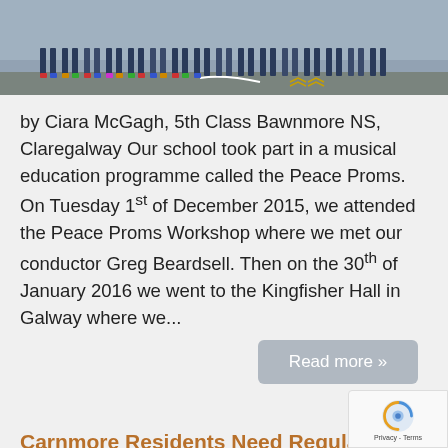[Figure (photo): Group photo showing students standing in a line on a playground/outdoor area, taken from waist-down showing feet and legs of many children]
by Ciara McGagh, 5th Class Bawnmore NS, Claregalway Our school took part in a musical education programme called the Peace Proms. On Tuesday 1st of December 2015, we attended the Peace Proms Workshop where we met our conductor Greg Beardsell. Then on the 30th of January 2016 we went to the Kingfisher Hall in Galway where we...
Read more »
Carnmore Residents Need Regular Da... Bus Service